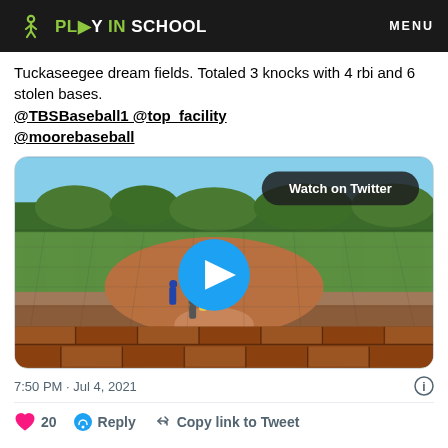PLAY IN SCHOOL  MENU
Tuckaseegee dream fields. Totaled 3 knocks with 4 rbi and 6 stolen bases. @TBSBaseball1 @top_facility @moorebaseball
[Figure (screenshot): Baseball game video thumbnail showing a baseball field with players, a brick wall in the foreground, a 'Watch on Twitter' badge in the top right, and a blue play button in the center.]
7:50 PM · Jul 4, 2021
20  Reply  Copy link to Tweet